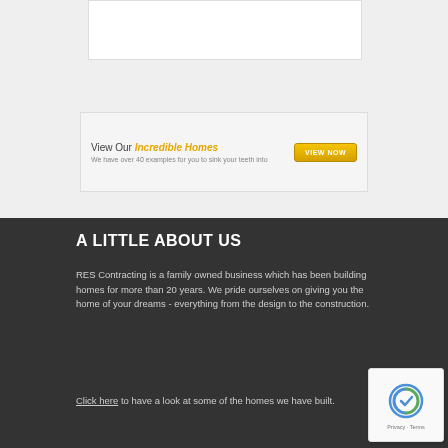[Figure (screenshot): White content box at top of page on light grey background]
View Our Incredible Homes
We have over 40 examples for you to sink your teeth into
A LITTLE ABOUT US
RES Contracting is a family owned business which has been building homes for more than 20 years. We pride ourselves on giving you the home of your dreams - everything from the design to the construction.
Click here to have a look at some of the homes we have built.